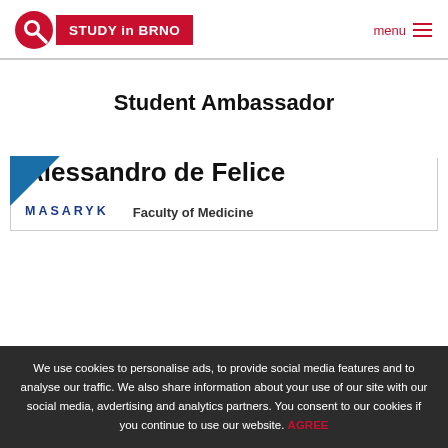STUDY in BRNO | menu
Student Ambassador
Alessandro de Felice
MASARYK | Faculty of Medicine
We use cookies to personalise ads, to provide social media features and to analyse our traffic. We also share information about your use of our site with our social media, avdertising and analytics partners. You consent to our cookies if you continue to use our website. AGREE